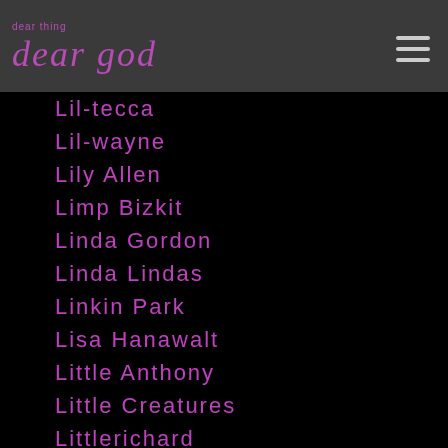dear god
Lil-tecca
Lil-wayne
Lily Allen
Limp Bizkit
Linda Gordon
Linda Lindas
Linkin Park
Lisa Hanawalt
Little Anthony
Little Creatures
Littlerichard
Little Simz
Little-walter
Liverpool-fc
Living Colour
Liza-minnelli
Liz Phair